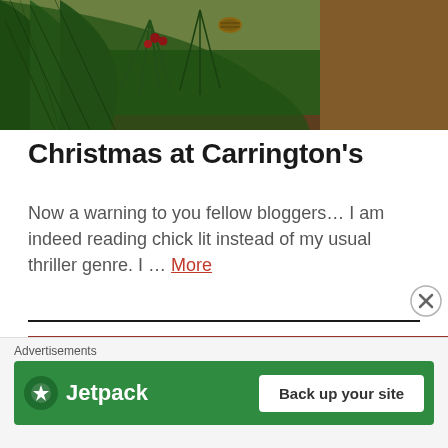[Figure (photo): Close-up photo of pine branches and pinecones with red berries, holiday decorations on a wooden surface]
Christmas at Carrington's
Now a warning to you fellow bloggers… I am indeed reading chick lit instead of my usual thriller genre. I … More
[Figure (photo): Close-up of a knitted or woven textile with diagonal red and cream/beige stripes]
Advertisements
[Figure (other): Jetpack advertisement banner with green background showing Jetpack logo and 'Back up your site' button]